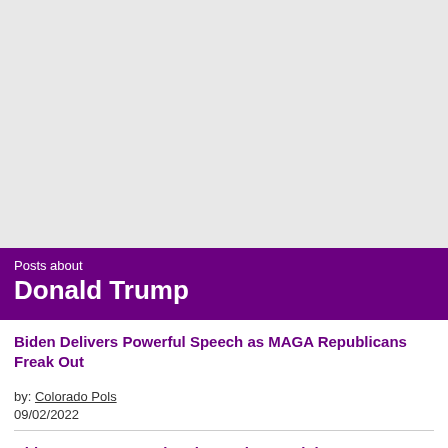[Figure (other): Gray placeholder area at the top of the page]
Posts about
Donald Trump
Biden Delivers Powerful Speech as MAGA Republicans Freak Out
by: Colorado Pols
09/02/2022
Biden Prepares to Bring the Ruckus Tonight
by: Colorado Pols